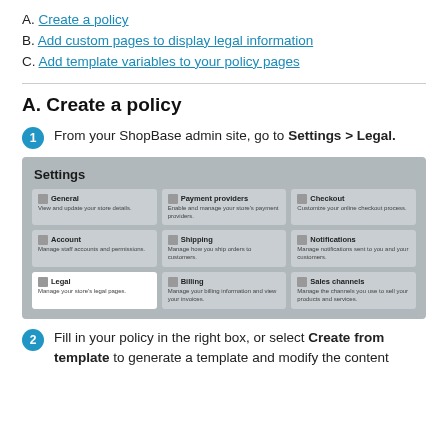A. Create a policy
B. Add custom pages to display legal information
C. Add template variables to your policy pages
A. Create a policy
1 From your ShopBase admin site, go to Settings > Legal.
[Figure (screenshot): Screenshot of ShopBase Settings page with Settings menu items including General, Payment providers, Checkout, Account, Shipping, Notifications, Legal (highlighted), Billing, and Sales channels.]
2 Fill in your policy in the right box, or select Create from template to generate a template and modify the content